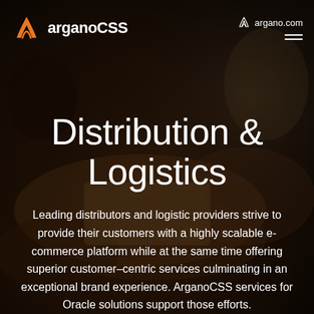[Figure (photo): Background photo of hands exchanging a package/box, dark blurred background with warm tones]
argano.com
arganoCSS
Distribution & Logistics
Leading distributors and logistic providers strive to provide their customers with a highly scalable e-commerce platform while at the same time offering superior customer–centric services culminating in an exceptional brand experience. ArganoCSS services for Oracle solutions support those efforts.